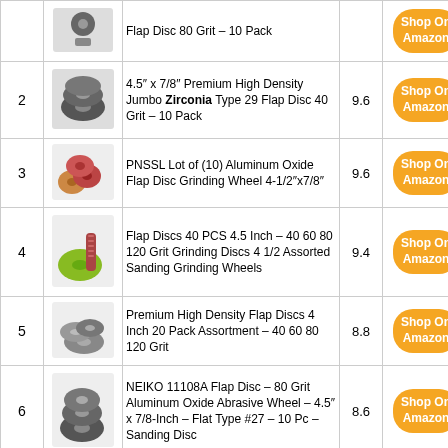| # | Image | Product | Score | Link |
| --- | --- | --- | --- | --- |
| 1 | [image] | Flap Disc 80 Grit – 10 Pack |  | Shop On Amazon |
| 2 | [image] | 4.5″ x 7/8″ Premium High Density Jumbo Zirconia Type 29 Flap Disc 40 Grit – 10 Pack | 9.6 | Shop On Amazon |
| 3 | [image] | PNSSL Lot of (10) Aluminum Oxide Flap Disc Grinding Wheel 4-1/2″x7/8″ | 9.6 | Shop On Amazon |
| 4 | [image] | Flap Discs 40 PCS 4.5 Inch – 40 60 80 120 Grit Grinding Discs 4 1/2 Assorted Sanding Grinding Wheels | 9.4 | Shop On Amazon |
| 5 | [image] | Premium High Density Flap Discs 4 Inch 20 Pack Assortment – 40 60 80 120 Grit | 8.8 | Shop On Amazon |
| 6 | [image] | NEIKO 11108A Flap Disc – 80 Grit Aluminum Oxide Abrasive Wheel – 4.5″ x 7/8-Inch – Flat Type #27 – 10 Pc – Sanding Disc | 8.6 | Shop On Amazon |
| 7 | [image] | Benchmark Abrasives 4.5″ x 7/8″ Type 27 Stearate Coated Flap Disc for Aluminum (60 Grit) | 8.4 | Shop On Amazon |